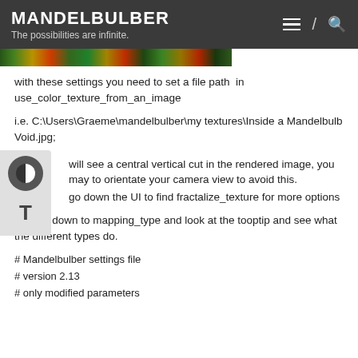MANDELBULBER
The possibilities are infinite.
[Figure (photo): Colorful fractal texture image strip showing red, green, yellow fractal patterns]
with these settings you need to set a file path  in use_color_texture_from_an_image
i.e. C:\Users\Graeme\mandelbulber\my textures\Inside a Mandelbulb Void.jpg;
will see a central vertical cut in the rendered image, you may to orientate your camera view to avoid this.
go down the UI to find fractalize_texture for more options
now go down to mapping_type and look at the tooptip and see what the different types do.
# Mandelbulber settings file
# version 2.13
# only modified parameters